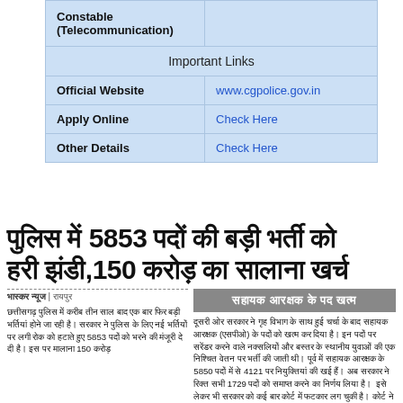|  |  |
| --- | --- |
| Constable (Telecommunication) |  |
| Important Links |  |
| Official Website | www.cgpolice.gov.in |
| Apply Online | Check Here |
| Other Details | Check Here |
पुलिस में 5853 पदों की बड़ी भर्ती को हरी झंडी,150 करोड़ का सालाना खर्च
भास्कर न्यूज | रायपुर
छत्तीसगढ़ पुलिस में करीब तीन साल बाद एक बार फिर बड़ी भर्तियां होने जा रही है। सरकार ने पुलिस के लिए नई भर्तियों पर लगी रोक को हटाते हुए 5853 पदों को भरने की मंजूरी दे दी है। इस पर मालाना 150 करोड़
सहायक आरक्षक के पद खत्म
दूसरी ओर सरकार ने गृह विभाग के साथ हुई चर्चा के बाद सहायक आरक्षक (एसपीओ) के पदों को खत्म कर दिया है। इन पदों पर सरेंडर करने वाले नक्सलियों और बस्तर के स्थानीय युवाओं की एक निश्चित वेतन पर भर्ती की जाती थी। पूर्व में सहायक आरक्षक के 5850 पदों में से 4121 पर नियुक्तियां की खई हैं। अब सरकार ने रिक्त सभी 1729 पदों को समाप्त करने का निर्णय लिया है।  इसे लेकर भी सरकार को कई बार कोर्ट में फटकार लग चुकी है। कोर्ट ने